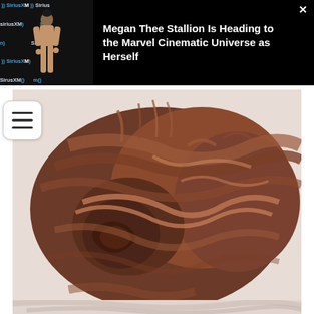[Figure (screenshot): Advertisement banner with black background showing a person at a SiriusXM event wearing a nude bodysuit, with headline text: 'Megan Thee Stallion Is Heading to the Marvel Cinematic Universe as Herself' and a close button (×)]
[Figure (photo): Close-up photo of a person's hair styled in a messy bun/updo with auburn/reddish-brown color, viewed from behind. A hamburger menu icon is overlaid on the left side.]